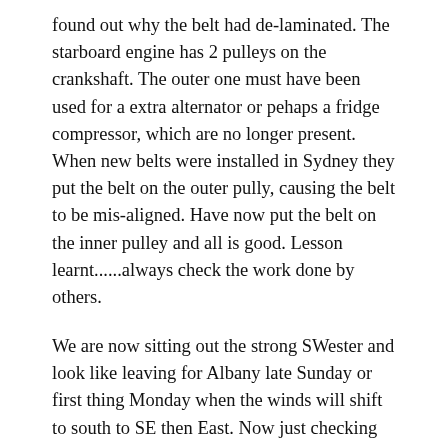found out why the belt had de-laminated. The starboard engine has 2 pulleys on the crankshaft. The outer one must have been used for a extra alternator or pehaps a fridge compressor, which are no longer present. When new belts were installed in Sydney they put the belt on the outer pully, causing the belt to be mis-aligned. Have now put the belt on the inner pulley and all is good. Lesson learnt......always check the work done by others.
We are now sitting out the strong SWester and look like leaving for Albany late Sunday or first thing Monday when the winds will shift to south to SE then East. Now just checking all systems and doing minor maintance.